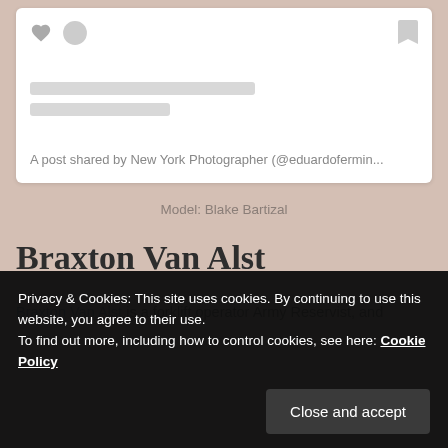[Figure (screenshot): Social media post card with heart icon, circle icon, bookmark icon, two skeleton loading lines, and caption text 'A post shared by New York Photographer (@eduardofermin...']
Model: Blake Bartizal
Braxton Van Alst
Braxton Van Alst is a forklift operator Army Reservist, and
Privacy & Cookies: This site uses cookies. By continuing to use this website, you agree to their use.
To find out more, including how to control cookies, see here: Cookie Policy
Close and accept